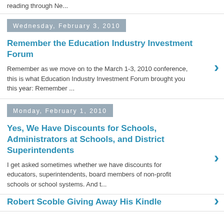reading through Ne...
Wednesday, February 3, 2010
Remember the Education Industry Investment Forum
Remember as we move on to the March 1-3, 2010 conference, this is what Education Industry Investment Forum brought you this year: Remember ...
Monday, February 1, 2010
Yes, We Have Discounts for Schools, Administrators at Schools, and District Superintendents
I get asked sometimes whether we have discounts for educators, superintendents, board members of non-profit schools or school systems. And t...
Robert Scoble Giving Away His Kindle